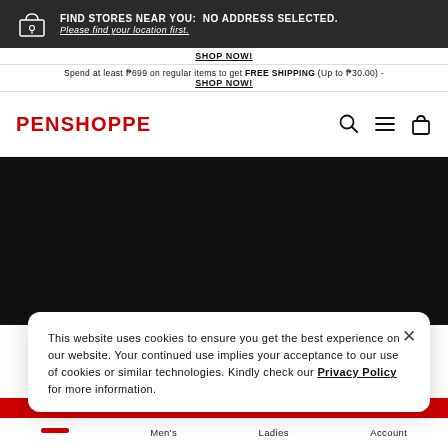FIND STORES NEAR YOU:  NO ADDRESS SELECTED. Please find your location first.
SHOP NOW!
Spend at least ₱699 on regular items to get FREE SHIPPING (Up to ₱30.00) - SHOP NOW!
PENSHOPPE
[Figure (screenshot): Hero banner area — large black/dark background image region]
This website uses cookies to ensure you get the best experience on our website. Your continued use implies your acceptance to our use of cookies or similar technologies. Kindly check our Privacy Policy for more information.
Men's  Ladies  Account